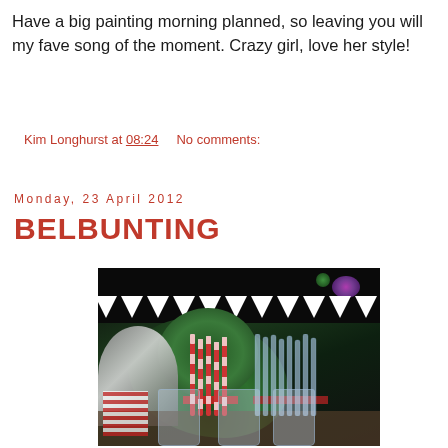Have a big painting morning planned, so leaving you will my fave song of the moment. Crazy girl, love her style!
Kim Longhurst at 08:24    No comments:
Monday, 23 April 2012
BELBUNTING
[Figure (photo): Outdoor night party scene with white bunting/pennant flags strung across the top, green foliage in background, mason jars with red-and-white striped straws and clear straws on a table, silver metallic object on the left, red checkered picnic box at lower left, colored lights in upper right.]